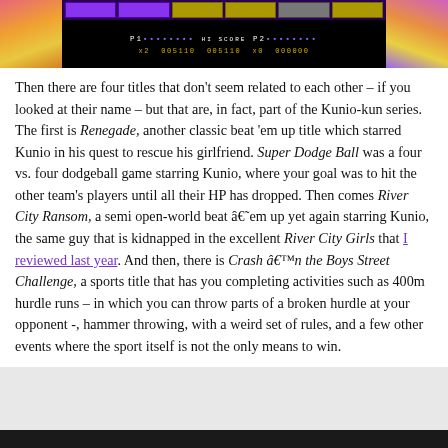[Figure (screenshot): Retro video game screenshot showing a fighting game with score display: P1 and P2 scores, HI SCORE in center, with colorful character art on left and right sides. Score row shows: x2 005110 005110 x0 000000]
Then there are four titles that don't seem related to each other – if you looked at their name – but that are, in fact, part of the Kunio-kun series. The first is Renegade, another classic beat 'em up title which starred Kunio in his quest to rescue his girlfriend. Super Dodge Ball was a four vs. four dodgeball game starring Kunio, where your goal was to hit the other team's players until all their HP has dropped. Then comes River City Ransom, a semi open-world beat â€˜em up yet again starring Kunio, the same guy that is kidnapped in the excellent River City Girls that I reviewed last year. And then, there is Crash â€™n the Boys Street Challenge, a sports title that has you completing activities such as 400m hurdle runs – in which you can throw parts of a broken hurdle at your opponent -, hammer throwing, with a weird set of rules, and a few other events where the sport itself is not the only means to win.